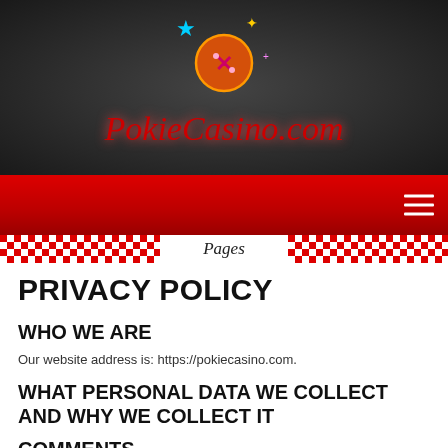[Figure (logo): PokieCasino.com neon logo with dice and stars on dark background]
Pages
PRIVACY POLICY
WHO WE ARE
Our website address is: https://pokiecasino.com.
WHAT PERSONAL DATA WE COLLECT AND WHY WE COLLECT IT
COMMENTS